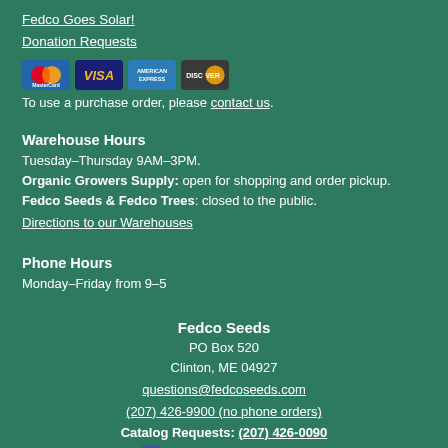Fedco Goes Solar!
Donation Requests
[Figure (other): Payment card logos: MasterCard, VISA, American Express, Discover]
To use a purchase order, please contact us.
Warehouse Hours
Tuesday–Thursday 9AM–3PM.
Organic Growers Supply: open for shopping and order pickup.
Fedco Seeds & Fedco Trees: closed to the public.
Directions to our Warehouses
Phone Hours
Monday–Friday from 9–5
Fedco Seeds
PO Box 520
Clinton, ME 04927
questions@fedcoseeds.com
(207) 426-9900 (no phone orders)
Catalog Requests: (207) 426-0090
Visit Fedco on Facebook
Visit Fedco on Instagram